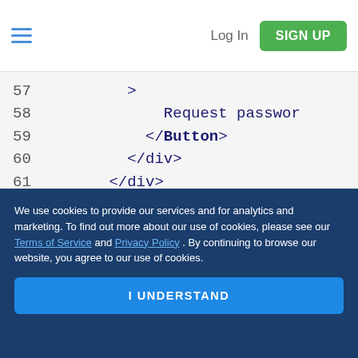Log In   SIGN UP
[Figure (screenshot): Code editor showing lines 57-64 of JSX/React code with closing tags: line 57 '>', line 58 'Request password', line 59 '</Button>', line 60 '</div>', line 61 '</div>', line 62 '</div>', line 63 ');', line 64 '};']
Rate this guide
We use cookies to provide our services and for analytics and marketing. To find out more about our use of cookies, please see our Terms of Service and Privacy Policy . By continuing to browse our website, you agree to our use of cookies.
I UNDERSTAND